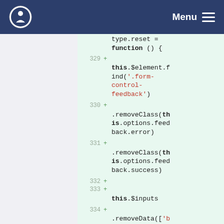Menu
[Figure (screenshot): Code diff view showing lines 329-334 of JavaScript source code with added lines highlighted in green. Code shows type.reset = function() { this.$element.find('.form-control-feedback').removeClass(this.options.feedback.error).removeClass(this.options.feedback.success); and this.$inputs .removeData(['b...]